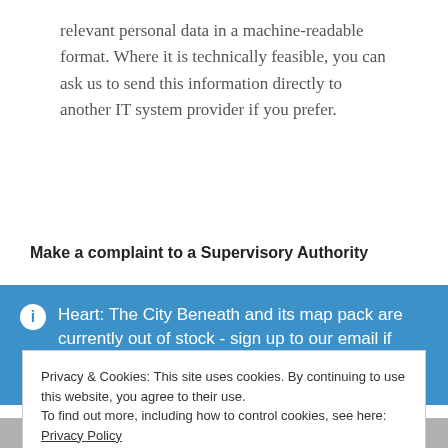relevant personal data in a machine-readable format. Where it is technically feasible, you can ask us to send this information directly to another IT system provider if you prefer.
Make a complaint to a Supervisory Authority
Heart: The City Beneath and its map pack are currently out of stock - sign up to our email if you'd like to be
Privacy & Cookies: This site uses cookies. By continuing to use this website, you agree to their use.
To find out more, including how to control cookies, see here: Privacy Policy
Close and accept